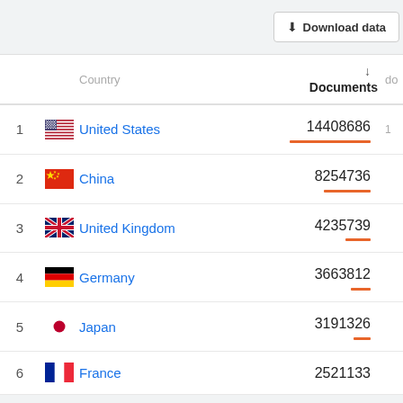|  | Country | Documents | do |
| --- | --- | --- | --- |
| 1 | United States | 14408686 |  |
| 2 | China | 8254736 |  |
| 3 | United Kingdom | 4235739 |  |
| 4 | Germany | 3663812 |  |
| 5 | Japan | 3191326 |  |
| 6 | France | 2521133 |  |